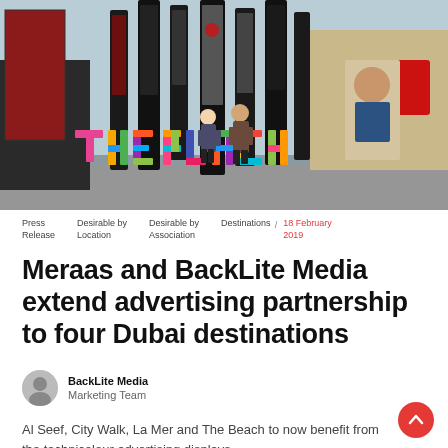[Figure (photo): Two men standing in front of large colourful 3D letters spelling THE BEACH at a Dubai outdoor destination, with tall digital advertising totem displays visible behind them]
Press Release   Desirable by Location   Desirable by Association   Destinations  /  18 February 2019
Meraas and BackLite Media extend advertising partnership to four Dubai destinations
BackLite Media
Marketing Team
Al Seef, City Walk, La Mer and The Beach to now benefit from the technicolour advertising displays